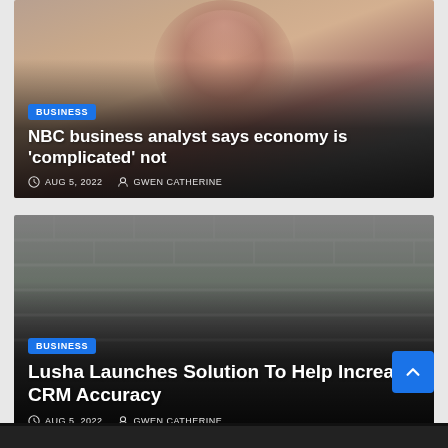[Figure (photo): News article card with photo of a smiling woman with red hair, overlaid with gradient. Category badge BUSINESS, headline 'NBC business analyst says economy is complicated not', date AUG 5, 2022, author GWEN CATHERINE.]
[Figure (photo): News article card with dark grayscale photo of a brick wall, overlaid with gradient. Category badge BUSINESS, headline 'Lusha Launches Solution To Help Increase CRM Accuracy', date AUG 5, 2022, author GWEN CATHERINE.]